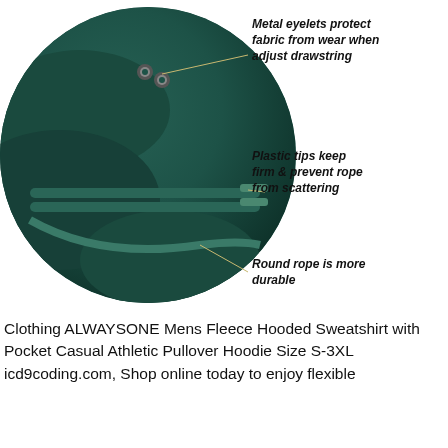[Figure (photo): Close-up circular photograph of a dark teal/green hoodie showing metal eyelets, round drawstring rope with plastic tips. Three annotation lines point to features with italic bold labels: 'Metal eyelets protect fabric from wear when adjust drawstring', 'Plastic tips keep firm & prevent rope from scattering', 'Round rope is more durable'.]
Clothing ALWAYSONE Mens Fleece Hooded Sweatshirt with Pocket Casual Athletic Pullover Hoodie Size S-3XL icd9coding.com, Shop online today to enjoy flexible